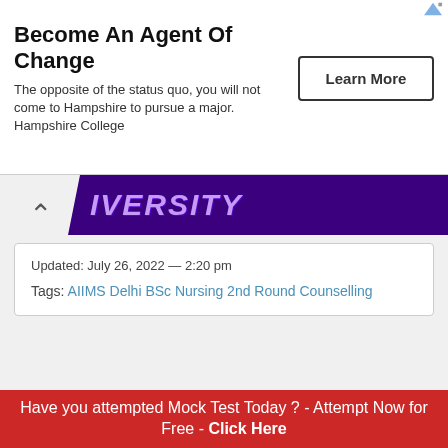[Figure (infographic): Advertisement banner: 'Become An Agent Of Change' with subtitle text about Hampshire College and a 'Learn More' button]
[Figure (other): Purple university header bar with chevron/caret icon and partial university name text in stylized italic lettering]
Updated: July 26, 2022 — 2:20 pm
Tags: AIIMS Delhi BSc Nursing 2nd Round Counselling
← Previous Post
Next Post →
Have you attempted Mock Test Today ? - Attempt Now for Free - Click Here